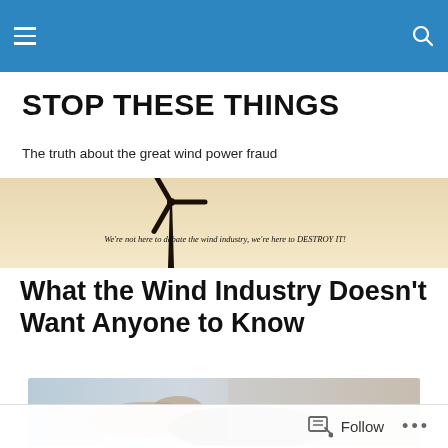STOP THESE THINGS [navigation header with hamburger menu and search icon]
STOP THESE THINGS
The truth about the great wind power fraud
[Figure (photo): Banner image of a wind turbine silhouette against a pale sky, with overlay text: "We're not here to debate the wind industry, we're here to DESTROY IT!"]
What the Wind Industry Doesn't Want Anyone to Know
[Figure (photo): Partial image of a person lying down, hand visible, suggesting distress or illness]
Follow  ...